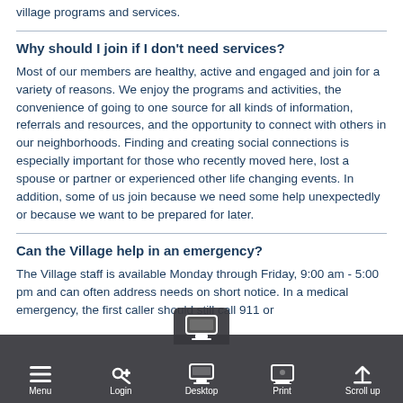village programs and services.
Why should I join if I don't need services?
Most of our members are healthy, active and engaged and join for a variety of reasons. We enjoy the programs and activities, the convenience of going to one source for all kinds of information, referrals and resources, and the opportunity to connect with others in our neighborhoods. Finding and creating social connections is especially important for those who recently moved here, lost a spouse or partner or experienced other life changing events. In addition, some of us join because we need some help unexpectedly or because we want to be prepared for later.
Can the Village help in an emergency?
The Village staff is available Monday through Friday, 9:00 am - 5:00 pm and can often address needs on short notice. In a medical emergency, the first caller should still call 911 or